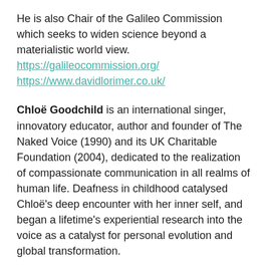He is also Chair of the Galileo Commission which seeks to widen science beyond a materialistic world view.
https://galileocommission.org/
https://www.davidlorimer.co.uk/
Chloë Goodchild is an international singer, innovatory educator, author and founder of The Naked Voice (1990) and its UK Charitable Foundation (2004), dedicated to the realization of compassionate communication in all realms of human life. Deafness in childhood catalysed Chloë's deep encounter with her inner self, and began a lifetime's experiential research into the voice as a catalyst for personal evolution and global transformation.